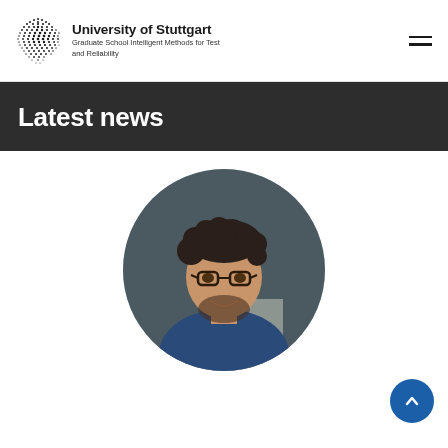University of Stuttgart – Graduate School Intelligent Methods for Test and Reliability
Latest news
[Figure (photo): Circular portrait photo of a man with curly dark hair, glasses, and a short beard, wearing a blue shirt, smiling, with a chalkboard background.]